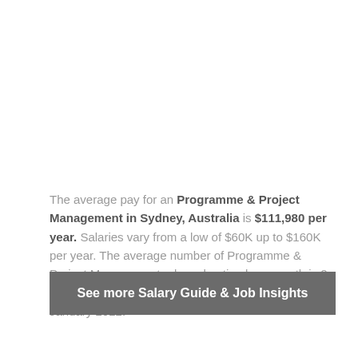The average pay for an Programme & Project Management in Sydney, Australia is $111,980 per year. Salaries vary from a low of $60K up to $160K per year. The average number of Programme & Project Management roles advertised per month is 2 in Sydney, Australia between August 2021 and January 2022.
See more Salary Guide & Job Insights